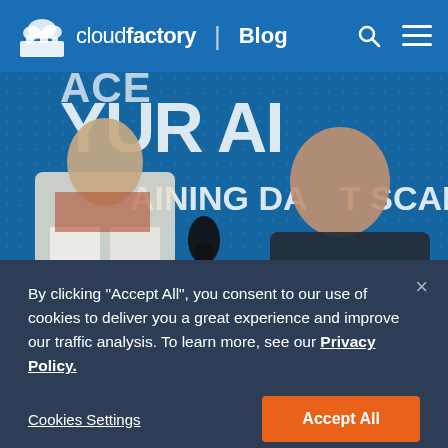cloudfactory | Blog
[Figure (photo): Two people at a conference booth with a blue background showing text 'YOUR AI TRAINING DATA AT SCALE' and 'USE CASE AGILITY'. A woman in a black shirt holds a microphone toward a man in a white lab coat.]
By clicking “Accept All”, you consent to our use of cookies to deliver you a great experience and improve our traffic analysis. To learn more, see our Privacy Policy.
Cookies Settings | Accept All